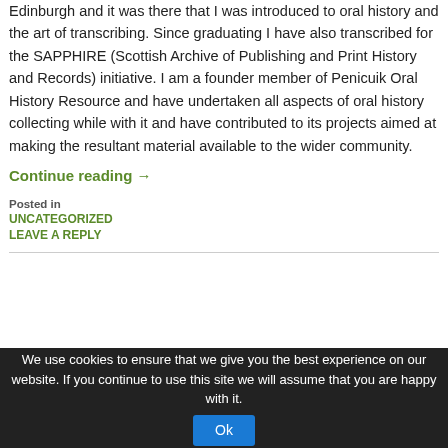Edinburgh and it was there that I was introduced to oral history and the art of transcribing. Since graduating I have also transcribed for the SAPPHIRE (Scottish Archive of Publishing and Print History and Records) initiative. I am a founder member of Penicuik Oral History Resource and have undertaken all aspects of oral history collecting while with it and have contributed to its projects aimed at making the resultant material available to the wider community.
Continue reading →
Posted in
UNCATEGORIZED
LEAVE A REPLY
We use cookies to ensure that we give you the best experience on our website. If you continue to use this site we will assume that you are happy with it.